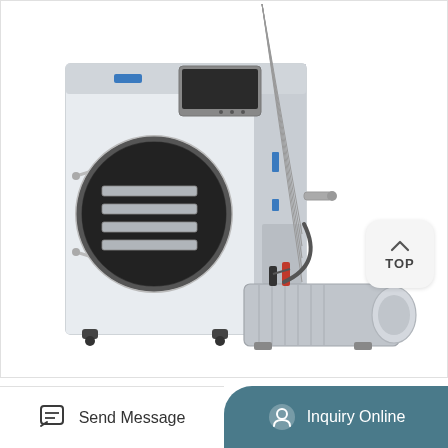[Figure (photo): Laboratory freeze dryer / lyophilizer machine in white metal casing with circular door showing internal shelves, digital control panel on top, blue indicator lights, and an external vacuum pump with motor attached to the right side. The machine has casters on the bottom.]
Send Message
Inquiry Online